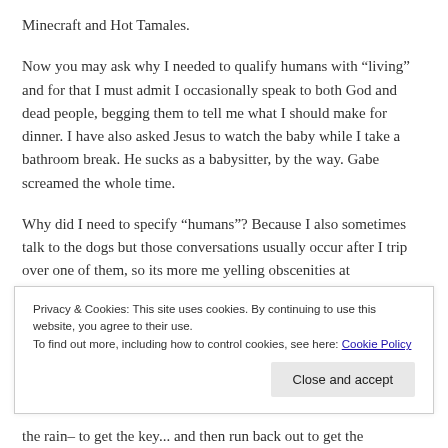Minecraft and Hot Tamales.
Now you may ask why I needed to qualify humans with “living” and for that I must admit I occasionally speak to both God and dead people, begging them to tell me what I should make for dinner. I have also asked Jesus to watch the baby while I take a bathroom break. He sucks as a babysitter, by the way. Gabe screamed the whole time.
Why did I need to specify “humans”? Because I also sometimes talk to the dogs but those conversations usually occur after I trip over one of them, so its more me yelling obscenities at
Privacy & Cookies: This site uses cookies. By continuing to use this website, you agree to their use.
To find out more, including how to control cookies, see here: Cookie Policy
the rain– to get the key... and then run back out to get the